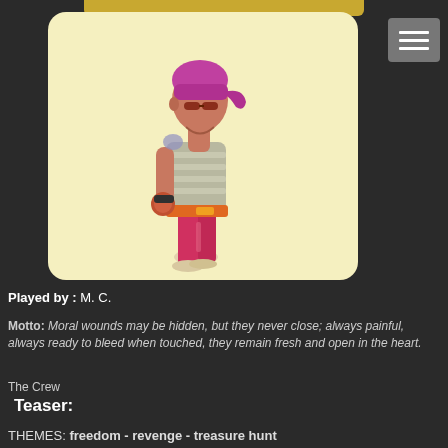[Figure (illustration): Cartoon pirate character standing in a yellow rounded-corner box. The character has pink/purple hair with a bandana, wears a striped grey and white shirt, red/pink pants, and holds something at their side. The character is viewed from a 3/4 rear angle.]
Played by : M. C.
Motto: Moral wounds may be hidden, but they never close; always painful, always ready to bleed when touched, they remain fresh and open in the heart.
The Crew
Teaser:
THEMES: freedom - revenge - treasure hunt